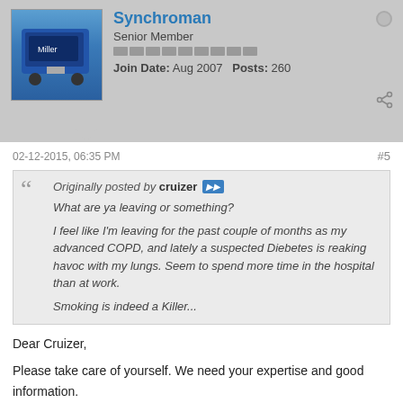Synchroman | Senior Member | Join Date: Aug 2007 | Posts: 260
02-12-2015, 06:35 PM
#5
Originally posted by cruizer
What are ya leaving or something?

I feel like I'm leaving for the past couple of months as my advanced COPD, and lately a suspected Diebetes is reaking havoc with my lungs. Seem to spend more time in the hospital than at work.

Smoking is indeed a Killer...
Dear Cruizer,

Please take care of yourself. We need your expertise and good information.

Best Regards from Northern California.
Miller Syncrowave 200